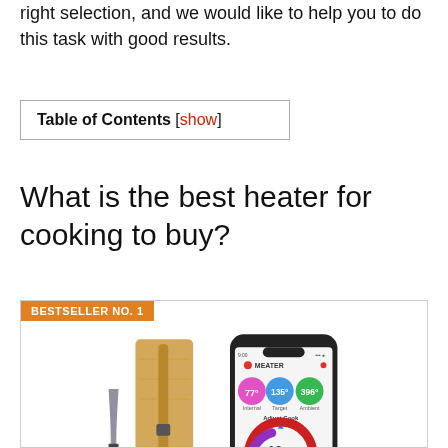right selection, and we would like to help you to do this task with good results.
| Table of Contents [show] |
| --- |
What is the best heater for cooking to buy?
[Figure (photo): Product photo showing a MEATER wireless meat thermometer probe next to its bamboo charging case, alongside a smartphone displaying the MEATER app with readings: Internal 77°, Target 135°, Ambient 396°, Adjust Cook, 12m remaining, with a red/purple arc progress indicator. BESTSELLER NO. 1 badge in orange.]